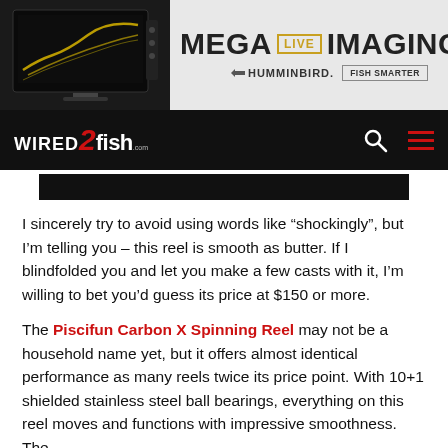[Figure (advertisement): Humminbird Mega Live Imaging advertisement banner with TV monitor showing sonar image on left, and 'MEGA LIVE IMAGING' text with Humminbird logo and 'FISH SMARTER' button on right]
[Figure (logo): Wired2Fish.com website navigation bar with logo on left and search/menu icons on right]
I sincerely try to avoid using words like “shockingly”, but I’m telling you – this reel is smooth as butter. If I blindfolded you and let you make a few casts with it, I’m willing to bet you’d guess its price at $150 or more.
The Piscifun Carbon X Spinning Reel may not be a household name yet, but it offers almost identical performance as many reels twice its price point. With 10+1 shielded stainless steel ball bearings, everything on this reel moves and functions with impressive smoothness. The...